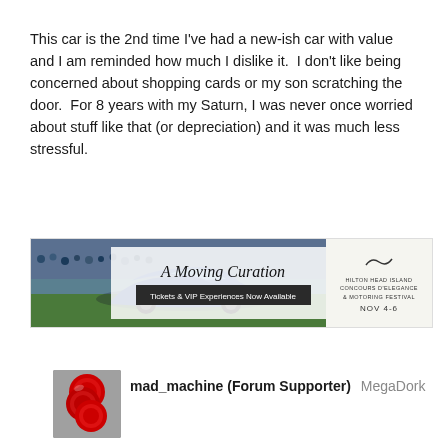This car is the 2nd time I've had a new-ish car with value and I am reminded how much I dislike it.  I don't like being concerned about shopping cards or my son scratching the door.  For 8 years with my Saturn, I was never once worried about stuff like that (or depreciation) and it was much less stressful.
[Figure (illustration): Advertisement banner for Hilton Head Island Concours d'Elegance & Motoring Festival. Left side shows a photo of a sports car (blue) on green grass with crowd. Center-right has cursive text 'A Moving Curation' with 'Tickets & VIP Experiences Now Available'. Far right panel shows a wave logo, 'HILTON HEAD ISLAND CONCOURS d'ELEGANCE & MOTORING FESTIVAL', 'NOV 4-6'.]
[Figure (photo): User avatar showing red circular objects (appears to be red poker chips or similar red discs) stacked/arranged, photographed close up.]
mad_machine (Forum Supporter)  MegaDork